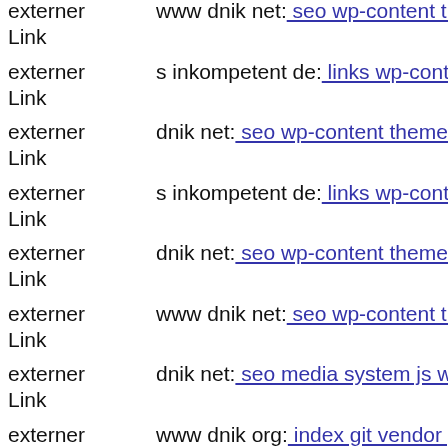externer Link  www dnik net: seo wp-content themes notes mail inkompetent
externer Link  s inkompetent de: links wp-content plugins wp-mobile-detector
externer Link  dnik net: seo wp-content themes twentyfourteen images error
externer Link  s inkompetent de: links wp-content skin skin zexxx php
externer Link  dnik net: seo wp-content themes canvas scripts mail inkompetent
externer Link  www dnik net: seo wp-content themes twentyeleven kontak
externer Link  dnik net: seo media system js wp-admin includes plugins co
externer Link  www dnik org: index git vendor phpunit phpunit src util log
externer Link  s inkompetent de: links wp-contentkqukqv'
externer Link  www s inkompetent de: links app etc skin administrator mo
externer Link  www dnik net: seo wp-content themes twentyfourteen core
externer Link  www s inkompetent de: links manager skin wp-content